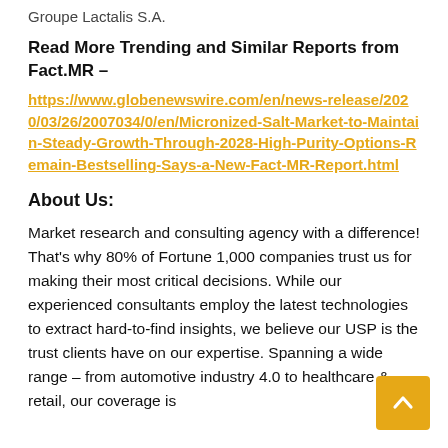Groupe Lactalis S.A.
Read More Trending and Similar Reports from Fact.MR –
https://www.globenewswire.com/en/news-release/2020/03/26/2007034/0/en/Micronized-Salt-Market-to-Maintain-Steady-Growth-Through-2028-High-Purity-Options-Remain-Bestselling-Says-a-New-Fact-MR-Report.html
About Us:
Market research and consulting agency with a difference! That's why 80% of Fortune 1,000 companies trust us for making their most critical decisions. While our experienced consultants employ the latest technologies to extract hard-to-find insights, we believe our USP is the trust clients have on our expertise. Spanning a wide range – from automotive industry 4.0 to healthcare & retail, our coverage is